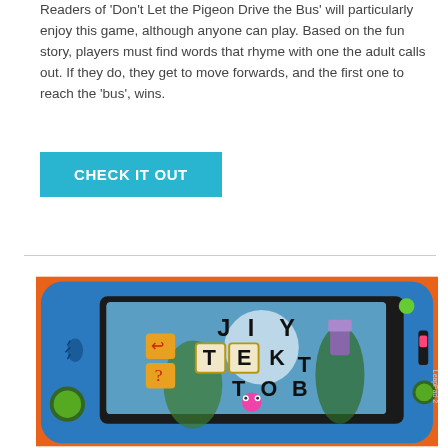Readers of 'Don't Let the Pigeon Drive the Bus' will particularly enjoy this game, although anyone can play. Based on the fun story, players must find words that rhyme with one the adult calls out. If they do, they get to move forwards, and the first one to reach the 'bus', wins.
CHECK IT OUT
[Figure (photo): Photo of a LeapPad 2 children's educational tablet showing a word/letter game on screen with letters J, I, Y, T, E, K, T, O, B visible on colorful tiles against a fantasy game background.]